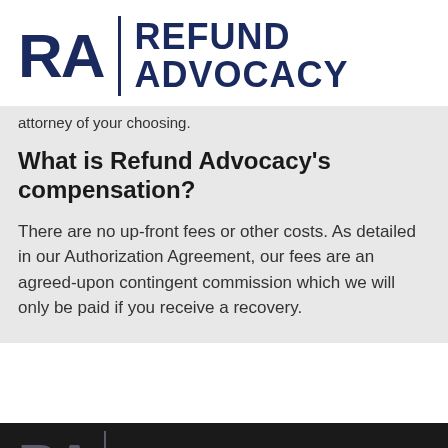RA | REFUND ADVOCACY
attorney of your choosing.
What is Refund Advocacy’s compensation?
There are no up-front fees or other costs. As detailed in our Authorization Agreement, our fees are an agreed-upon contingent commission which we will only be paid if you receive a recovery.
RA | REFUND